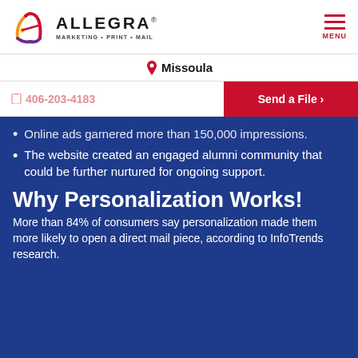[Figure (logo): Allegra Marketing Print Mail logo with colorful A icon]
MENU
Missoula
406-203-4183
Send a File ›
Online ads garnered more than 150,000 impressions.
The website created an engaged alumni community that could be further nurtured for ongoing support.
Why Personalization Works!
More than 84% of consumers say personalization made them more likely to open a direct mail piece, according to InfoTrends research.